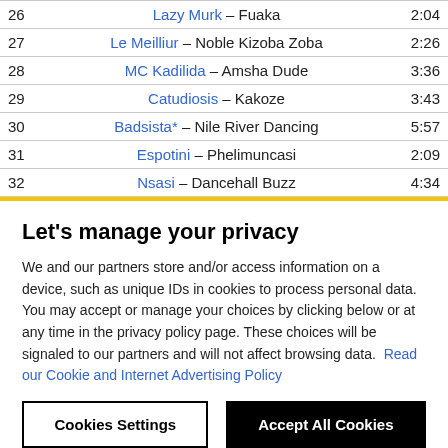| # | Track | Duration |
| --- | --- | --- |
| 26 | Lazy Murk – Fuaka | 2:04 |
| 27 | Le Meilliur – Noble Kizoba Zoba | 2:26 |
| 28 | MC Kadilida – Amsha Dude | 3:36 |
| 29 | Catudiosis – Kakoze | 3:43 |
| 30 | Badsista* – Nile River Dancing | 5:57 |
| 31 | Espotini – Phelimuncasi | 2:09 |
| 32 | Nsasi – Dancehall Buzz | 4:34 |
Let's manage your privacy
We and our partners store and/or access information on a device, such as unique IDs in cookies to process personal data. You may accept or manage your choices by clicking below or at any time in the privacy policy page. These choices will be signaled to our partners and will not affect browsing data. Read our Cookie and Internet Advertising Policy
Cookies Settings
Accept All Cookies